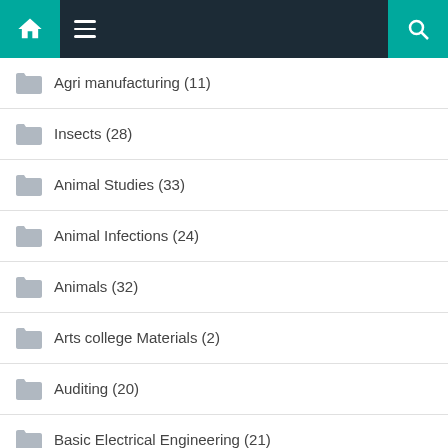Navigation bar with home, menu, and search icons
Agri manufacturing (11)
Insects (28)
Animal Studies (33)
Animal Infections (24)
Animals (32)
Arts college Materials (2)
Auditing (20)
Basic Electrical Engineering (21)
BBA management topics (36)
Biomedica (?)